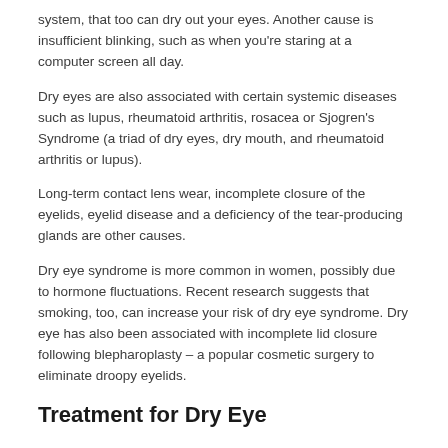system, that too can dry out your eyes. Another cause is insufficient blinking, such as when you're staring at a computer screen all day.
Dry eyes are also associated with certain systemic diseases such as lupus, rheumatoid arthritis, rosacea or Sjogren's Syndrome (a triad of dry eyes, dry mouth, and rheumatoid arthritis or lupus).
Long-term contact lens wear, incomplete closure of the eyelids, eyelid disease and a deficiency of the tear-producing glands are other causes.
Dry eye syndrome is more common in women, possibly due to hormone fluctuations. Recent research suggests that smoking, too, can increase your risk of dry eye syndrome. Dry eye has also been associated with incomplete lid closure following blepharoplasty – a popular cosmetic surgery to eliminate droopy eyelids.
Treatment for Dry Eye